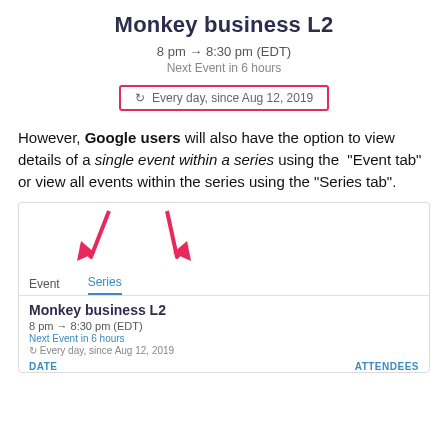Monkey business L2
8 pm → 8:30 pm (EDT)
Next Event in 6 hours
↻ Every day, since Aug 12, 2019
However, Google users will also have the option to view details of a single event within a series using the "Event tab" or view all events within the series using the "Series tab".
[Figure (screenshot): Screenshot of a calendar event UI showing tabs labeled 'Event' and 'Series' with two pink arrows pointing down at them. The Series tab is selected (underlined in blue). Below shows event details: Monkey business L2, 8 pm → 8:30 pm (EDT), Next Event in 6 hours, ↻ Every day, since Aug 12, 2019, with DATE and ATTENDEES labels at the bottom.]